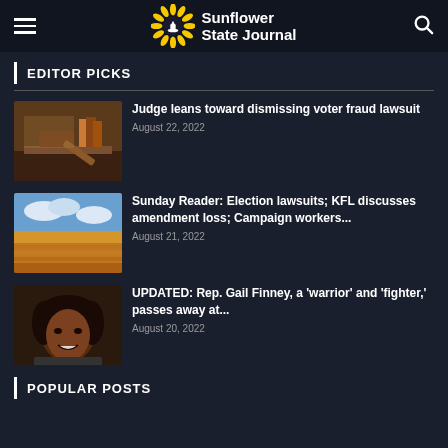Sunflower State Journal
EDITOR PICKS
[Figure (photo): Photo of a judge's gavel on a wooden surface with books in background]
Judge leans toward dismissing voter fraud lawsuit
August 22, 2022
[Figure (photo): Photo of an orange wheat field under a blue sky with clouds]
Sunday Reader: Election lawsuits; KFL discusses amendment loss; Campaign workers...
August 21, 2022
[Figure (photo): Photo of a smiling woman with curly hair]
UPDATED: Rep. Gail Finney, a 'warrior' and 'fighter,' passes away at...
August 20, 2022
POPULAR POSTS